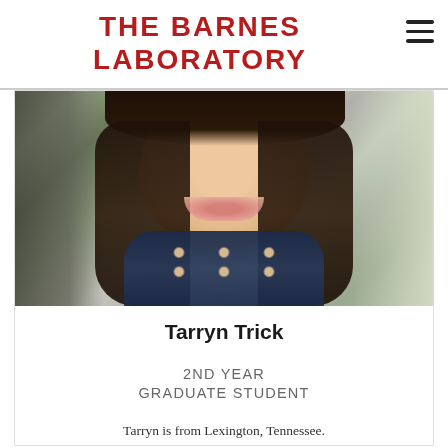THE BARNES LABORATORY
[Figure (photo): Headshot of Tarryn Trick, a smiling young woman with long dark hair, wearing a patterned blue and gold top, photographed outdoors near a tree.]
Tarryn Trick
2ND YEAR
GRADUATE STUDENT
Tarryn is from Lexington, Tennessee.